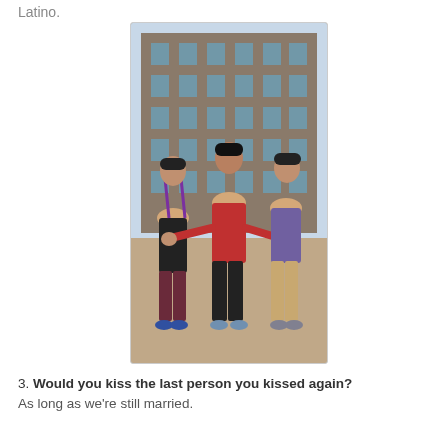Latino.
[Figure (photo): Three men in colorful clothing in a crouching/dancing pose on a rooftop or outdoor area with a large brick apartment building in the background. The man on the left wears a black shirt and maroon pants with purple suspenders, the man in the center wears a red jacket and black pants, and the man on the right wears a purple t-shirt and khaki pants. This appears to be a still from West Side Story.]
3. Would you kiss the last person you kissed again?
As long as we're still married.